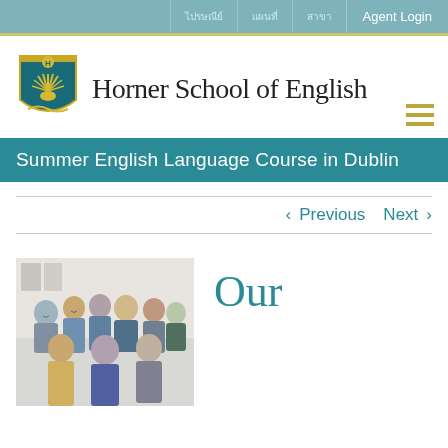ไปรษณีย์   แผนที่   สาขา   Agent Login
[Figure (logo): Horner School of English shield logo with sunburst design in yellow-green on teal background]
Horner School of English
Summer English Language Course in Dublin
‹  Previous   Next  ›
[Figure (photo): Group photo of students in a classroom setting, smiling at the camera]
Our